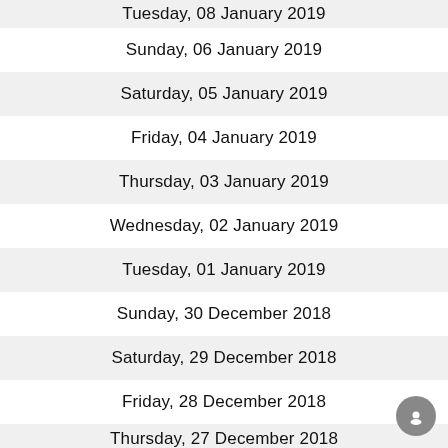Tuesday, 08 January 2019
Sunday, 06 January 2019
Saturday, 05 January 2019
Friday, 04 January 2019
Thursday, 03 January 2019
Wednesday, 02 January 2019
Tuesday, 01 January 2019
Sunday, 30 December 2018
Saturday, 29 December 2018
Friday, 28 December 2018
Thursday, 27 December 2018